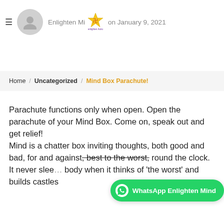Enlighten Mind on January 9, 2021
Home / Uncategorized / Mind Box Parachute!
Parachute functions only when open. Open the parachute of your Mind Box. Come on, speak out and get relief!
Mind is a chatter box inviting thoughts, both good and bad, for and against, best to the worst, round the clock. It never slee… body when it thinks of 'the worst' and builds castles